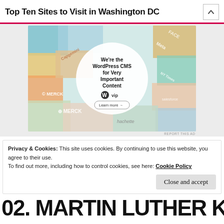Top Ten Sites to Visit in Washington DC
[Figure (infographic): WordPress VIP advertisement showing a collage of brand logos (Meta, Facebook, Merck, Capgemini, Hachette, Salesforce) in the background with colored tiles, and a white circle in the center containing text: 'We're the WordPress CMS for Very Important Content', WordPress VIP logo, and a 'Learn more →' button.]
REPORT THIS AD
Privacy & Cookies: This site uses cookies. By continuing to use this website, you agree to their use. To find out more, including how to control cookies, see here: Cookie Policy
02. MARTIN LUTHER KING JR